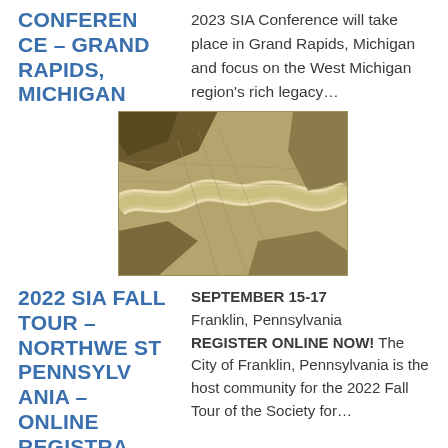CONFERENCE – GRAND RAPIDS, MICHIGAN
2023 SIA Conference will take place in Grand Rapids, Michigan and focus on the West Michigan region's rich legacy…
[Figure (map): Sepia-toned aerial or bird's-eye map illustration of a city with a river running through it]
2022 SIA FALL TOUR – NORTHWEST PENNSYLVANIA – ONLINE REGISTRA
SEPTEMBER 15-17 Franklin, Pennsylvania REGISTER ONLINE NOW! The City of Franklin, Pennsylvania is the host community for the 2022 Fall Tour of the Society for…